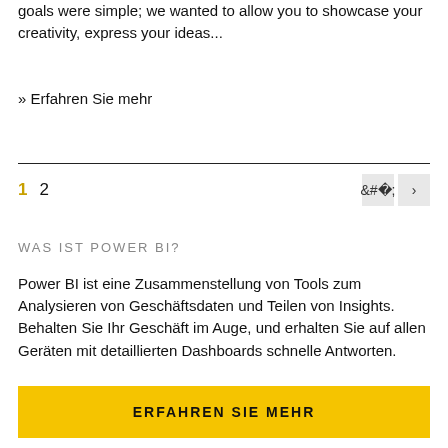goals were simple; we wanted to allow you to showcase your creativity, express your ideas...
» Erfahren Sie mehr
1  2
WAS IST POWER BI?
Power BI ist eine Zusammenstellung von Tools zum Analysieren von Geschäftsdaten und Teilen von Insights. Behalten Sie Ihr Geschäft im Auge, und erhalten Sie auf allen Geräten mit detaillierten Dashboards schnelle Antworten.
ERFAHREN SIE MEHR